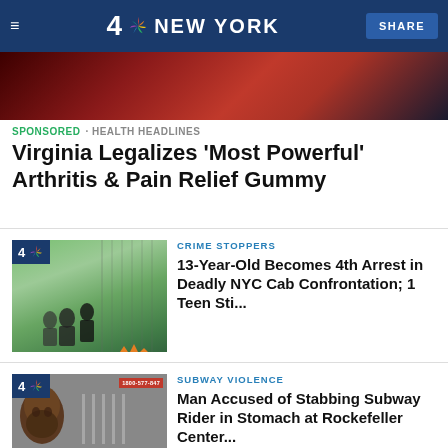4 NBC NEW YORK | SHARE
[Figure (photo): Close-up of a red glittery gummy candy]
SPONSORED · HEALTH HEADLINES
Virginia Legalizes 'Most Powerful' Arthritis & Pain Relief Gummy
[Figure (photo): NBC 4 New York news thumbnail showing people on a street near a fence with orange traffic cones]
CRIME STOPPERS
13-Year-Old Becomes 4th Arrest in Deadly NYC Cab Confrontation; 1 Teen Sti...
[Figure (photo): NBC 4 New York news thumbnail showing a man's face, subway turnstile scene with 1800-577-847 hotline number]
SUBWAY VIOLENCE
Man Accused of Stabbing Subway Rider in Stomach at Rockefeller Center...